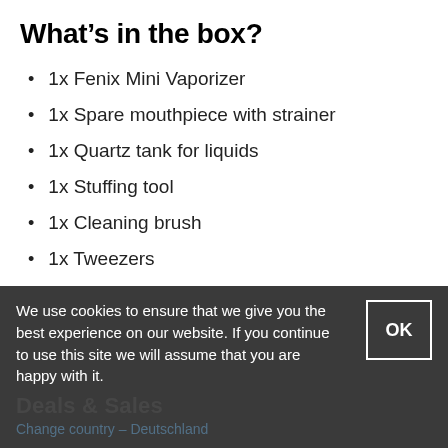What’s in the box?
1x Fenix Mini Vaporizer
1x Spare mouthpiece with strainer
1x Quartz tank for liquids
1x Stuffing tool
1x Cleaning brush
1x Tweezers
1x USB cable
1x User manual
We use cookies to ensure that we give you the best experience on our website. If you continue to use this site we will assume that you are happy with it.